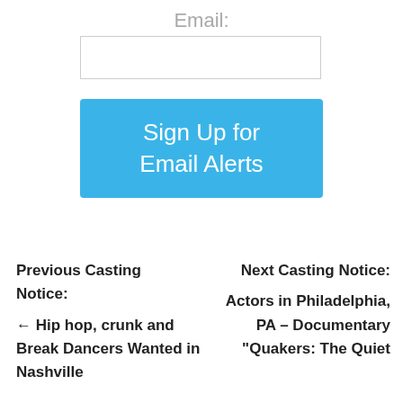Email:
[Figure (other): Email input text field (form element)]
[Figure (other): Sign Up for Email Alerts button (blue button)]
Previous Casting Notice:
Next Casting Notice:
← Hip hop, crunk and Break Dancers Wanted in Nashville
Actors in Philadelphia, PA – Documentary "Quakers: The Quiet